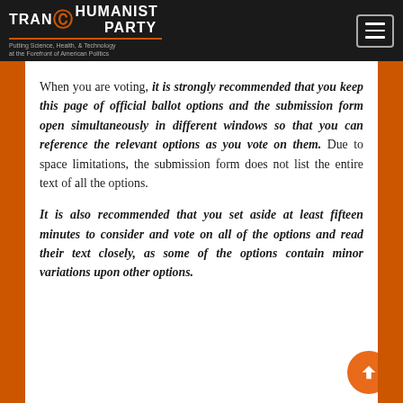TRANSHUMANIST PARTY — Putting Science, Health, & Technology at the Forefront of American Politics
When you are voting, it is strongly recommended that you keep this page of official ballot options and the submission form open simultaneously in different windows so that you can reference the relevant options as you vote on them. Due to space limitations, the submission form does not list the entire text of all the options.
It is also recommended that you set aside at least fifteen minutes to consider and vote on all of the options and read their text closely, as some of the options contain minor variations upon other options.